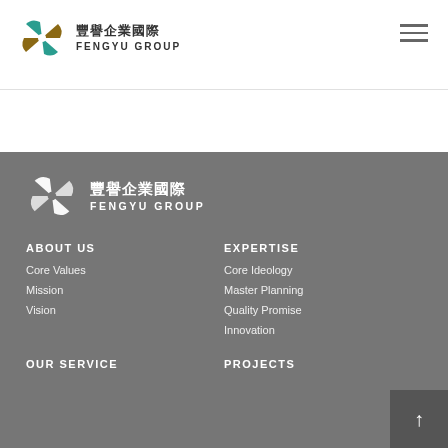豐譽企業國際 FENGYU GROUP
[Figure (logo): Fengyu Group logo with teal and brown pinwheel icon, Chinese text 豐譽企業國際 and English text FENGYU GROUP in header]
[Figure (logo): Fengyu Group logo white version with Chinese text 豐譽企業國際 and English text FENGYU GROUP in footer]
ABOUT US
Core Values
Mission
Vision
EXPERTISE
Core Ideology
Master Planning
Quality Promise
Innovation
OUR SERVICE
PROJECTS